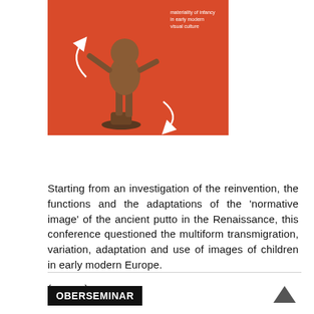[Figure (photo): Book cover with red background showing a bronze sculpture of a putto (child figure), with white arrows indicating rotation. Text on the cover reads 'materiality of infancy in early modern visual culture'.]
Starting from an investigation of the reinvention, the functions and the adaptations of the ‘normative image’ of the ancient putto in the Renaissance, this conference questioned the multiform transmigration, variation, adaptation and use of images of children in early modern Europe.
(more...)
OBERSEMINAR